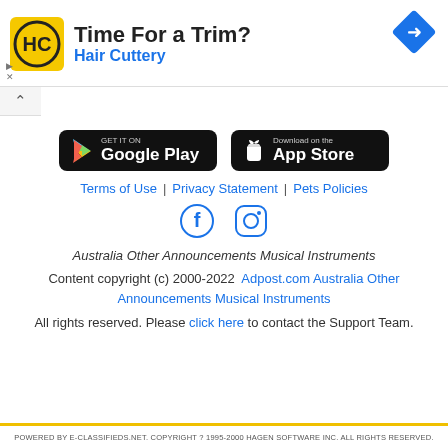[Figure (illustration): Hair Cuttery advertisement banner with logo (black HC letters on yellow background), text 'Time For a Trim?' and 'Hair Cuttery', and a blue navigation diamond icon on the right.]
Terms of Use | Privacy Statement | Pets Policies
[Figure (logo): Google Play store badge: GET IT ON Google Play]
[Figure (logo): Apple App Store badge: Download on the App Store]
[Figure (illustration): Facebook and Instagram social media icons]
Australia Other Announcements Musical Instruments
Content copyright (c) 2000-2022 Adpost.com Australia Other Announcements Musical Instruments
All rights reserved. Please click here to contact the Support Team.
POWERED BY E-CLASSIFIEDS.NET. COPYRIGHT ? 1995-2000 HAGEN SOFTWARE INC. ALL RIGHTS RESERVED.